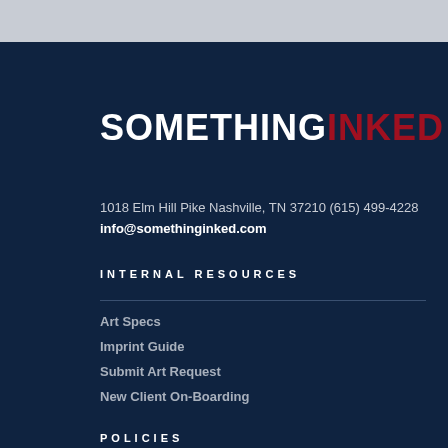[Figure (logo): SomethingInked logo with SOMETHING in white bold and INKED in dark red bold]
1018 Elm Hill Pike Nashville, TN 37210 (615) 499-4228
info@somethinginked.com
INTERNAL RESOURCES
Art Specs
Imprint Guide
Submit Art Request
New Client On-Boarding
POLICIES